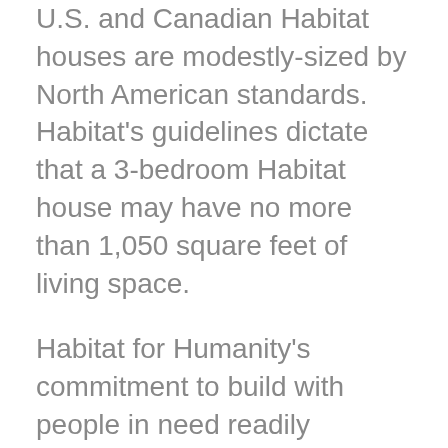U.S. and Canadian Habitat houses are modestly-sized by North American standards. Habitat's guidelines dictate that a 3-bedroom Habitat house may have no more than 1,050 square feet of living space.
Habitat for Humanity's commitment to build with people in need readily extends to those with disabilities. When possible, Habitat houses incorporate basic accessible design features, such as a zero-step entrance and wide passage doors and hallways. Houses built in partnership with families with disabilities include additional accessibility features.
“This home is more than a house. It is a home with love.